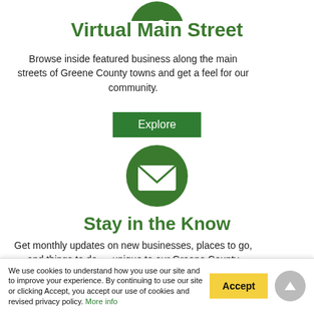[Figure (illustration): Green circle icon with a building/map pin symbol at the top (partially visible, cropped)]
Virtual Main Street
Browse inside featured business along the main streets of Greene County towns and get a feel for our community.
[Figure (illustration): Green 'Explore' button]
[Figure (illustration): Green circle icon with white envelope/mail symbol]
Stay in the Know
Get monthly updates on new businesses, places to go, and things to do — unique to our Greene County lifestyle.
We use cookies to understand how you use our site and to improve your experience. By continuing to use our site or clicking Accept, you accept our use of cookies and revised privacy policy. More info